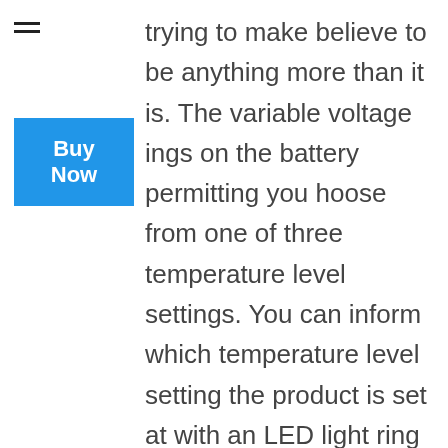trying to make believe to be anything more than it is. The variable voltage ings on the battery permitting you hoose from one of three temperature level settings. You can inform which temperature level setting the product is set at with an LED light ring that alters colors from eco-friendly to blue and also lastly red in order of coolest to warmest. The battery itself might just have 350 mA well worth of power however due to its smooth design and efficient construction, this ought to be sufficient